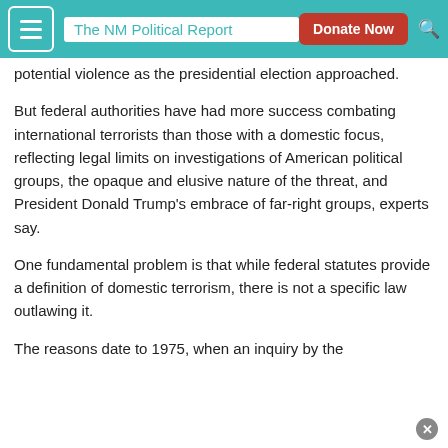The NM Political Report | Donate Now
potential violence as the presidential election approached.
But federal authorities have had more success combating international terrorists than those with a domestic focus, reflecting legal limits on investigations of American political groups, the opaque and elusive nature of the threat, and President Donald Trump's embrace of far-right groups, experts say.
One fundamental problem is that while federal statutes provide a definition of domestic terrorism, there is not a specific law outlawing it.
The reasons date to 1975, when an inquiry by the